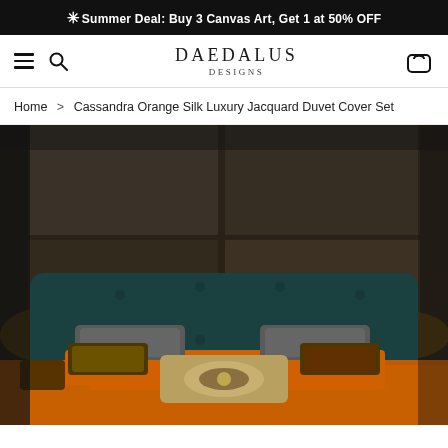✳Summer Deal: Buy 3 Canvas Art, Get 1 at 50% OFF
DAEDALUS DESIGNS
Home > Cassandra Orange Silk Luxury Jacquard Duvet Cover Set
[Figure (photo): Luxury bed with teal velvet tufted headboard, orange jacquard silk bedding, decorative pillows in gray and patterned fabric, against a dark textured stone wall background.]